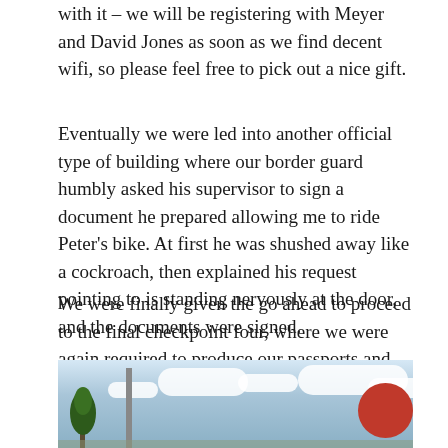with it – we will be registering with Meyer and David Jones as soon as we find decent wifi, so please feel free to pick out a nice gift.
Eventually we were led into another official type of building where our border guard humbly asked his supervisor to sign a document he prepared allowing me to ride Peter's bike. At first he was shushed away like a cockroach, then explained his request pointing to is standing nervously at the door, and the documents were signed.
We were finally given the go ahead to proceed to the final checkpoint four, where we were again required to produce our passports and vehicle papers. Finally, we got the wave and we're free!
[Figure (photo): Outdoor photo showing sky with clouds, a tree on the left, a pole in the middle, and a partial red circular sign on the right edge]